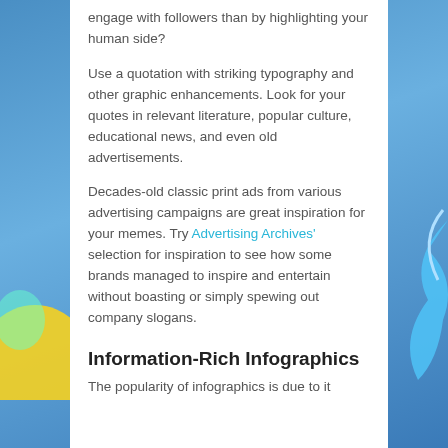engage with followers than by highlighting your human side?
Use a quotation with striking typography and other graphic enhancements. Look for your quotes in relevant literature, popular culture, educational news, and even old advertisements.
Decades-old classic print ads from various advertising campaigns are great inspiration for your memes. Try Advertising Archives' selection for inspiration to see how some brands managed to inspire and entertain without boasting or simply spewing out company slogans.
Information-Rich Infographics
The popularity of infographics is due to it...